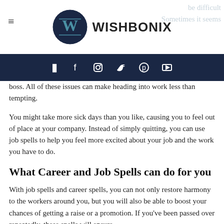WISHBONIX
boss. All of these issues can make heading into work less than tempting.
You might take more sick days than you like, causing you to feel out of place at your company. Instead of simply quitting, you can use job spells to help you feel more excited about your job and the work you have to do.
What Career and Job Spells can do for you
With job spells and career spells, you can not only restore harmony to the workers around you, but you will also be able to boost your chances of getting a raise or a promotion. If you've been passed over repeatedly, these spells will ensure